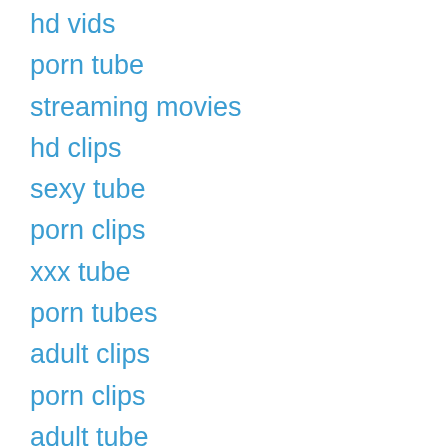hd vids
porn tube
streaming movies
hd clips
sexy tube
porn clips
xxx tube
porn tubes
adult clips
porn clips
adult tube
sexy tubes
quality films
hot movies
hd clips
sexy movies
hd vids
best for sureporno vids